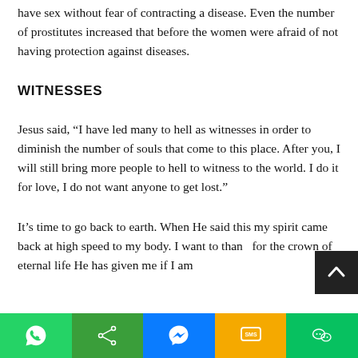have sex without fear of contracting a disease. Even the number of prostitutes increased that before the women were afraid of not having protection against diseases.
WITNESSES
Jesus said, “I have led many to hell as witnesses in order to diminish the number of souls that come to this place. After you, I will still bring more people to hell to witness to the world. I do it for love, I do not want anyone to get lost.”
It’s time to go back to earth. When He said this my spirit came back at high speed to my body. I want to thank for the crown of eternal life He has given me if I am